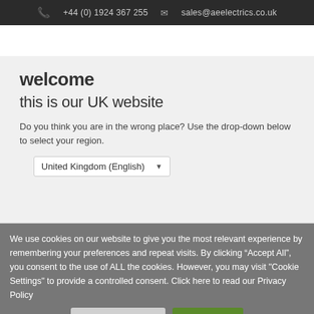+44 (0) 1924 367 253   sales@aeelectrics.co.uk
welcome
this is our UK website
Do you think you are in the wrong place? Use the drop-down below to select your region.
United Kingdom (English)
We use cookies on our website to give you the most relevant experience by remembering your preferences and repeat visits. By clicking “Accept All”, you consent to the use of ALL the cookies. However, you may visit "Cookie Settings" to provide a controlled consent. Click here to read our Privacy Policy
Cookie Settings   Accept All
Share This